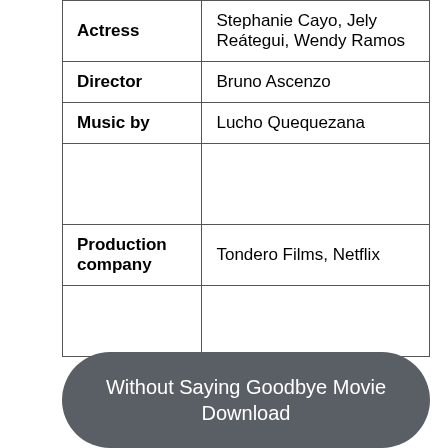| Actress | Stephanie Cayo, Jely Reátegui, Wendy Ramos |
| Director | Bruno Ascenzo |
| Music by | Lucho Quequezana |
|  |  |
| Production company | Tondero Films, Netflix |
|  |  |
Without Saying Goodbye Movie Download